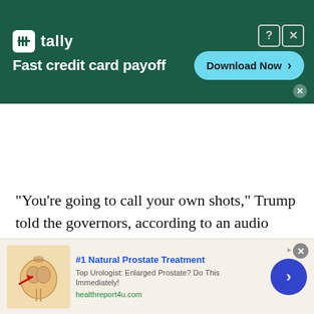[Figure (screenshot): Tally app advertisement banner with dark green background. Shows 'tally' logo with white icon, 'Fast credit card payoff' tagline, and a cyan 'Download Now' button with arrow. Has question mark and X icons in top right corner.]
“You’re going to call your own shots,” Trump told the governors, according to an audio recording obtained by The Associated Press, after a week in which he clashed with them over his claim that he has “total” authority over how and when the country reopens.
[Figure (screenshot): Bottom advertisement for '#1 Natural Prostate Treatment' from healthreport4u.com. Shows a medical illustration of a prostate with a red arrow, text 'Top Urologist: Enlarged Prostate? Do This Immediately!' and a blue circular arrow button.]